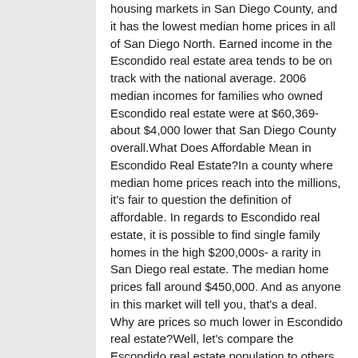housing markets in San Diego County, and it has the lowest median home prices in all of San Diego North. Earned income in the Escondido real estate area tends to be on track with the national average. 2006 median incomes for families who owned Escondido real estate were at $60,369- about $4,000 lower that San Diego County overall.What Does Affordable Mean in Escondido Real Estate?In a county where median home prices reach into the millions, it's fair to question the definition of affordable. In regards to Escondido real estate, it is possible to find single family homes in the high $200,000s- a rarity in San Diego real estate. The median home prices fall around $450,000. And as anyone in this market will tell you, that's a deal. Why are prices so much lower in Escondido real estate?Well, let's compare the Escondido real estate population to others in San Diego County. About 20% of